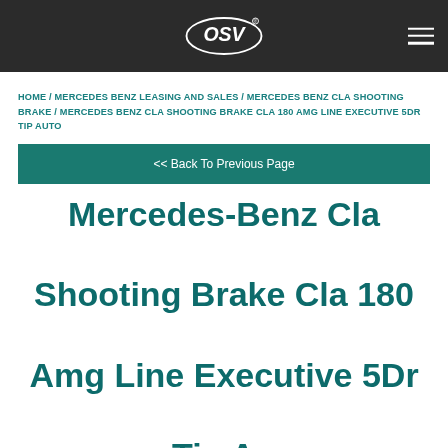OSV
HOME / MERCEDES BENZ LEASING AND SALES / MERCEDES BENZ CLA SHOOTING BRAKE / MERCEDES BENZ CLA SHOOTING BRAKE CLA 180 AMG LINE EXECUTIVE 5DR TIP AUTO
<< Back To Previous Page
Mercedes-Benz Cla Shooting Brake Cla 180 Amg Line Executive 5Dr Tip Auto